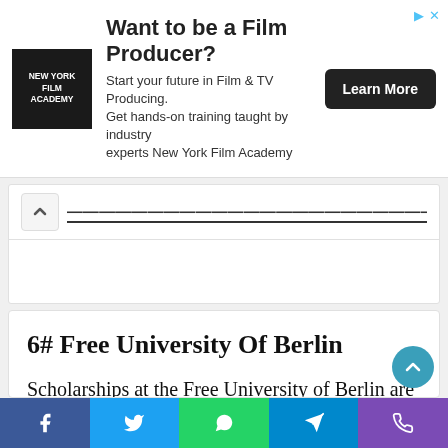[Figure (screenshot): Advertisement banner for New York Film Academy: 'Want to be a Film Producer?' with logo, body text, and Learn More button]
...partial heading text (truncated, scrolled)
6# Free University Of Berlin
Scholarships at the Free University of Berlin are usually offered by third parties and organizations. The studies at the German university are free of cost which makes it a wonderful option for overseas
[Figure (infographic): Social share bar with Facebook, Twitter, WhatsApp, Telegram, and phone icons]